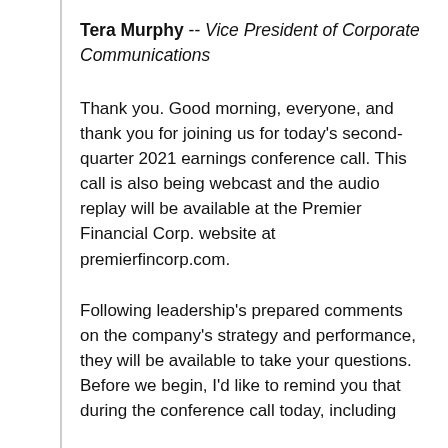Tera Murphy -- Vice President of Corporate Communications
Thank you. Good morning, everyone, and thank you for joining us for today's second-quarter 2021 earnings conference call. This call is also being webcast and the audio replay will be available at the Premier Financial Corp. website at premierfincorp.com.
Following leadership's prepared comments on the company's strategy and performance, they will be available to take your questions. Before we begin, I'd like to remind you that during the conference call today, including